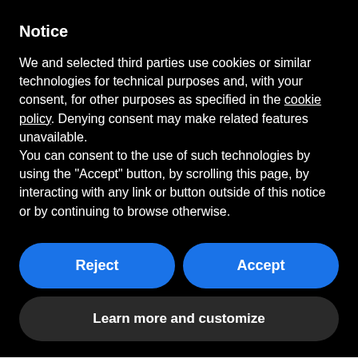Notice
We and selected third parties use cookies or similar technologies for technical purposes and, with your consent, for other purposes as specified in the cookie policy. Denying consent may make related features unavailable.
You can consent to the use of such technologies by using the "Accept" button, by scrolling this page, by interacting with any link or button outside of this notice or by continuing to browse otherwise.
Reject
Accept
Learn more and customize
Secondo Across, le campagne marketing geolocalizzate hanno avuto un incremento 2021, con un trend di crescita del +60%